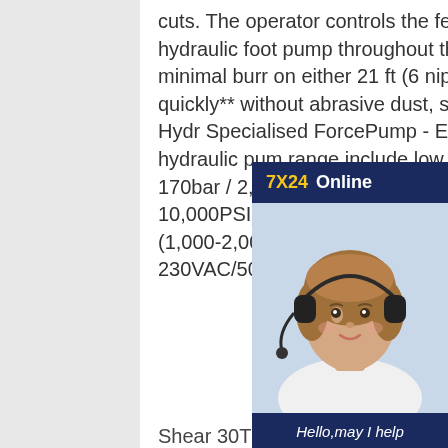cuts. The operator controls the feeding rate by pumping the hydraulic foot pump throughout the operation. A square cut with minimal burr on either 21 ft (6 nipple lengths of pipe is achieved quickly** without abrasive dust, sp open flame. Pump - Electric Hydr Specialised ForcePump - Electric Hydraulic. Electric hydraulic pum range include low pressure hydra pumps (69-170bar / 2,250PSI), h pressure hydraulic pumps (700ba 10,000PSI) and very or ultra high pressure hydraulic pumps (1,000-2,000bar 14,500-29,000PSI). Most are single-phase 230VAC/50Hz but some larger units are 3 phase (415VAC).
[Figure (photo): Customer service chat widget with '7X24 Online' header in dark navy blue background, a photo of a smiling woman wearing a headset, a message 'Hello, may I help you?' in white italic text, and a yellow 'Get Latest Price' button.]
Shear 30T Shearing Station (with 980